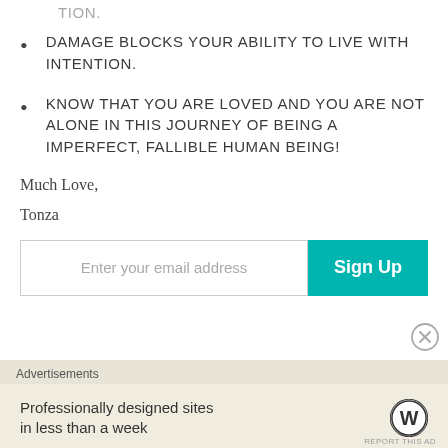DAMAGE BLOCKS YOUR ABILITY TO LIVE WITH INTENTION.
KNOW THAT YOU ARE LOVED AND YOU ARE NOT ALONE IN THIS JOURNEY OF BEING A IMPERFECT, FALLIBLE HUMAN BEING!
Much Love,
Tonza
Enter your email address  Sign Up
Advertisements
Professionally designed sites in less than a week